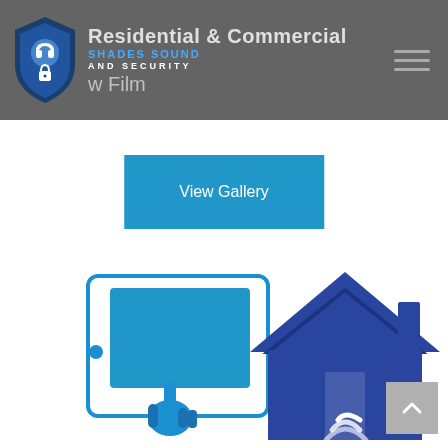Residential & Commercial Window Film
[Figure (logo): Shades Sound and Security shield logo with headset and lock icons]
View Gallery
[Figure (illustration): Smart home illustration: a hand using a tablet/touchpad on the left, and a blue house icon with WiFi signal on the right]